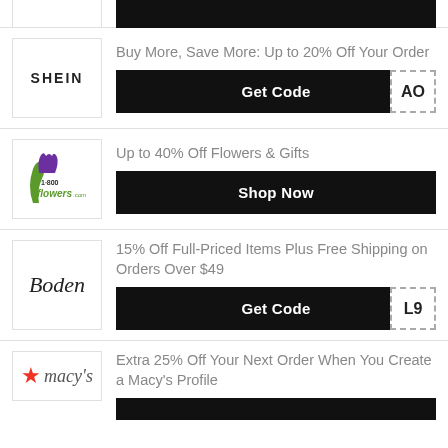[Figure (logo): Top partial black button strip]
Buy More, Save More: Up to 20% Off Your Order
[Figure (logo): SHEIN logo]
Get Code AO
Up to 40% Off Flowers & Gifts
[Figure (logo): 1800flowers.com logo]
Shop Now
15% Off Full-Priced Items Plus Free Shipping on Orders Over $49
[Figure (logo): Boden logo]
Get Code L9
Extra 25% Off Your Next Order When You Create a Macy's Profile
[Figure (logo): Macy's logo]